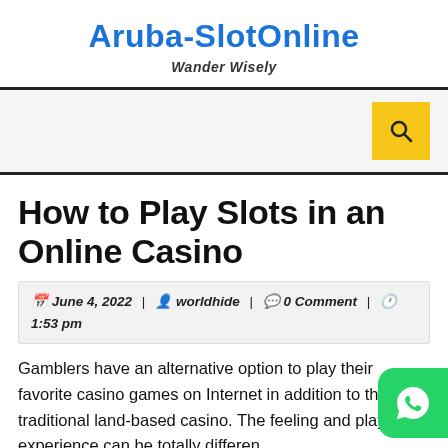Aruba-SlotOnline
Wander Wisely
How to Play Slots in an Online Casino
June 4, 2022 | worldhide | 0 Comment | 1:53 pm
Gamblers have an alternative option to play their favorite casino games on Internet in addition to the traditional land-based casino. The feeling and playing experience can be totally different between these two versions of playing.